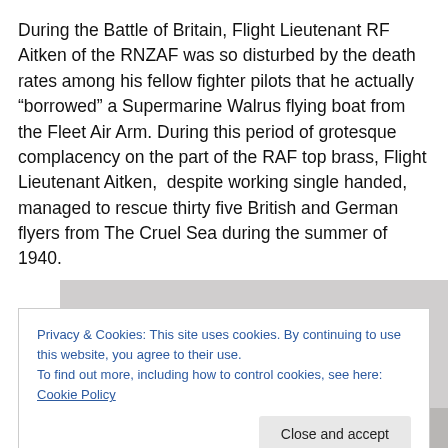During the Battle of Britain, Flight Lieutenant RF Aitken of the RNZAF was so disturbed by the death rates among his fellow fighter pilots that he actually “borrowed” a Supermarine Walrus flying boat from the Fleet Air Arm. During this period of grotesque complacency on the part of the RAF top brass, Flight Lieutenant Aitken,  despite working single handed, managed to rescue thirty five British and German flyers from The Cruel Sea during the summer of 1940.
[Figure (photo): Partial photograph of what appears to be a historical aircraft or sea scene, partially obscured by a cookie consent banner.]
Privacy & Cookies: This site uses cookies. By continuing to use this website, you agree to their use.
To find out more, including how to control cookies, see here: Cookie Policy
Close and accept